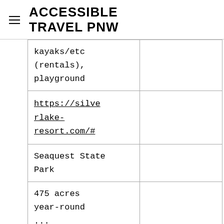ACCESSIBLE TRAVEL PNW
| kayaks/etc (rentals), playground |  |
| https://silverlake-resort.com/# |  |
| Seaquest State Park |  |
| 475 acres year-round ... |  |
kayaks/etc (rentals), playground
https://silverlake-resort.com/#
Seaquest State Park
475 acres year-round ...